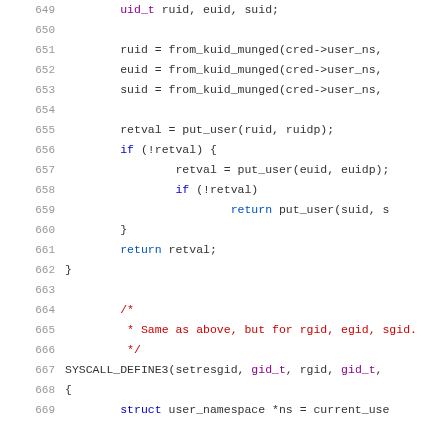Source code listing, lines 649-669, showing Linux kernel setresuid/setresgid system call implementation in C.